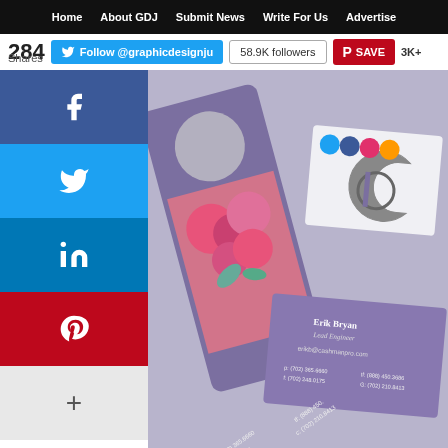Home | About GDJ | Submit News | Write For Us | Advertise
284 Shares | Follow @graphicdesignju | 58.9K followers | SAVE | 3K+
[Figure (photo): Graphic design showcase: Purple door hanger with circular cutout and flower photo, plus business cards for Erik Bryan Lead Engineer at cashmanpro.com with phone numbers (702) 365.6660, f: (702) 248.0175, tf: (888) 450.3686, G: (702) 210.8413. Also shows company logo with stylized 'p' and 'C' letters, and social media icons for Twitter, Facebook, Instagram, RSS.]